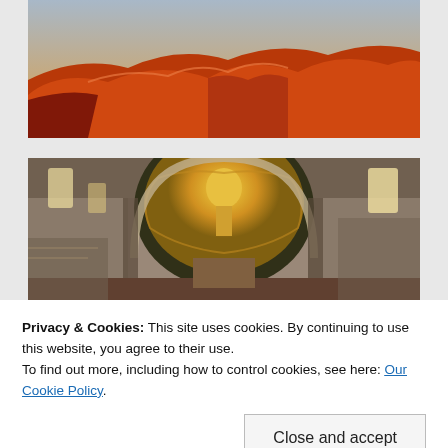[Figure (photo): Orange-red sand dunes against a light sky at dusk or dawn, desert landscape panorama]
[Figure (photo): Interior of a Romanesque church with a colorful mosaic apse depicting a standing figure in golden halo, stone walls and arches]
Privacy & Cookies: This site uses cookies. By continuing to use this website, you agree to their use.
To find out more, including how to control cookies, see here: Our Cookie Policy
[Figure (photo): Partial view of another interior photo at the bottom edge, appears to be wooden furniture or interior]